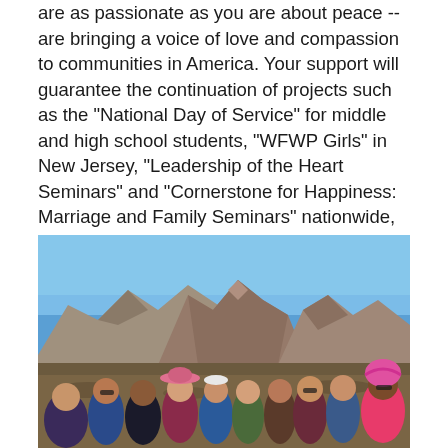are as passionate as you are about peace --are bringing a voice of love and compassion to communities in America. Your support will guarantee the continuation of projects such as the "National Day of Service" for middle and high school students, "WFWP Girls" in New Jersey, "Leadership of the Heart Seminars" and "Cornerstone for Happiness: Marriage and Family Seminars" nationwide, and many more.
[Figure (photo): A group of approximately 12 women posing together outdoors in front of a dramatic rocky mountain range under a clear blue sky. The women are dressed in colorful clothing. One woman on the right wears a bright pink head wrap and pink top.]